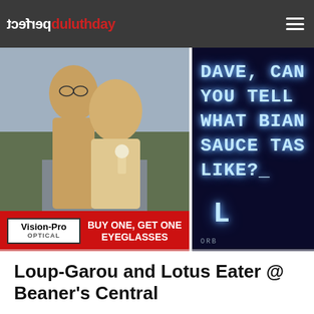perfect duluthday
[Figure (photo): Advertisement: Two young women smiling outdoors with Vision-Pro Optical 'Buy One, Get One Eyeglasses' red banner below]
[Figure (photo): Dark blue background with glowing neon text reading: DAVE, CAN YOU TELL WHAT BIAN SAUCE TAS LIKE? with large letter L and ORB text below]
Loup-Garou and Lotus Eater @ Beaner's Central
Sep 28, 2010   No Comments   Share